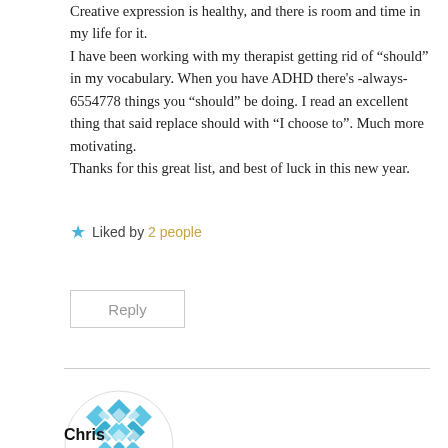Creative expression is healthy, and there is room and time in my life for it.
I have been working with my therapist getting rid of "should" in my vocabulary. When you have ADHD there's -always- 6554778 things you "should" be doing. I read an excellent thing that said replace should with "I choose to". Much more motivating.
Thanks for this great list, and best of luck in this new year.
Liked by 2 people
Reply
[Figure (illustration): Blue geometric diamond/snowflake avatar icon for user Chris]
Chris